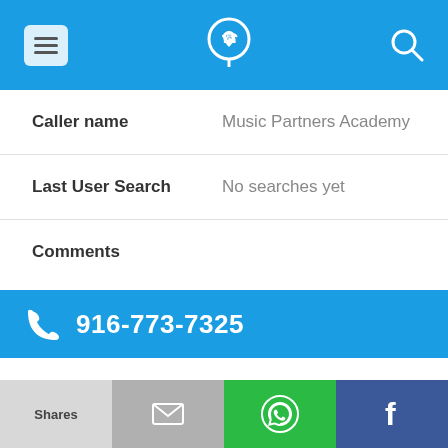App header with menu, phone/location icon, search icon
Caller name: Music Partners Academy
Last User Search: No searches yet
Comments
916-773-7325
Alternate Form: 9167737325
Caller name: James Dean's Rebel Desi...
Shares | (mail) | (whatsapp) | (facebook)